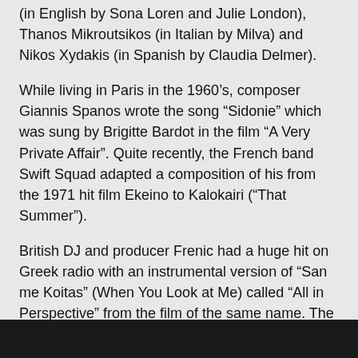(in English by Sona Loren and Julie London), Thanos Mikroutsikos (in Italian by Milva) and Nikos Xydakis (in Spanish by Claudia Delmer).
While living in Paris in the 1960’s, composer Giannis Spanos wrote the song “Sidonie” which was sung by Brigitte Bardot in the film “A Very Private Affair”. Quite recently, the French band Swift Squad adapted a composition of his from the 1971 hit film Ekeino to Kalokairi (“That Summer”).
British DJ and producer Frenic had a huge hit on Greek radio with an instrumental version of “San me Koitas” (When You Look at Me) called “All in Perspective” from the film of the same name. The tune was originally sung by Yiannis Fertis and Aphroditi Manou.